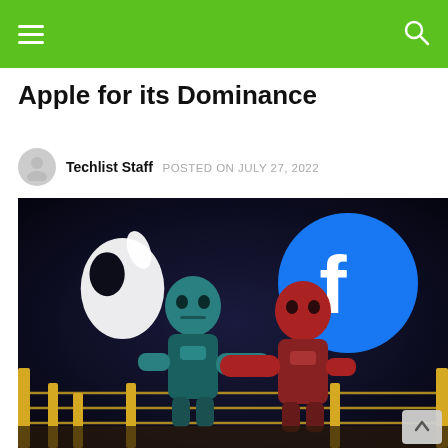Navigation bar with hamburger menu and search icon
Apple for its Dominance
Techlist Staff  POSTED ON JULY 27, 2022
[Figure (photo): Two toy robot figurines (one teal/blue representing Apple, one red representing Facebook) facing each other in a boxing ring stance. Apple logo glows in background on left, Facebook logo in blue circle on right. Dark dramatic lighting.]